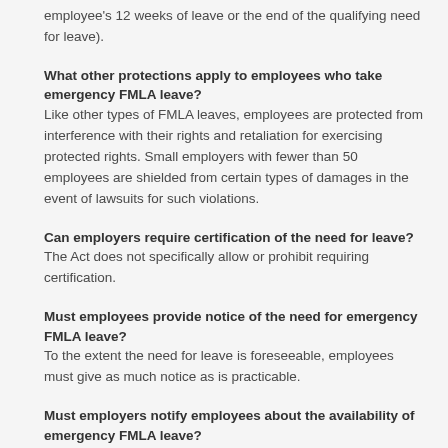employee's 12 weeks of leave or the end of the qualifying need for leave).
What other protections apply to employees who take emergency FMLA leave?
Like other types of FMLA leaves, employees are protected from interference with their rights and retaliation for exercising protected rights. Small employers with fewer than 50 employees are shielded from certain types of damages in the event of lawsuits for such violations.
Can employers require certification of the need for leave?
The Act does not specifically allow or prohibit requiring certification.
Must employees provide notice of the need for emergency FMLA leave?
To the extent the need for leave is foreseeable, employees must give as much notice as is practicable.
Must employers notify employees about the availability of emergency FMLA leave?
The Act does not specifically address this question, but